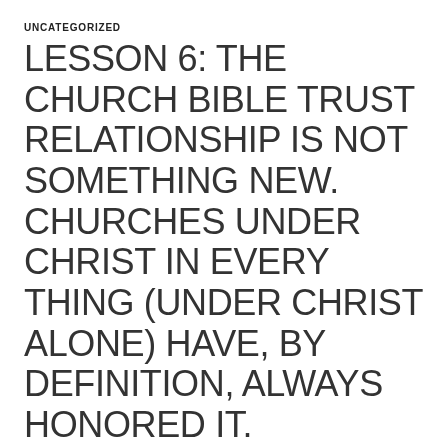UNCATEGORIZED
LESSON 6: THE CHURCH BIBLE TRUST RELATIONSHIP IS NOT SOMETHING NEW. CHURCHES UNDER CHRIST IN EVERY THING (UNDER CHRIST ALONE) HAVE, BY DEFINITION, ALWAYS HONORED IT.
JANUARY 1, 2022   LEAVE A COMMENT
Jerald Finney
Copyright © January 1, 2022